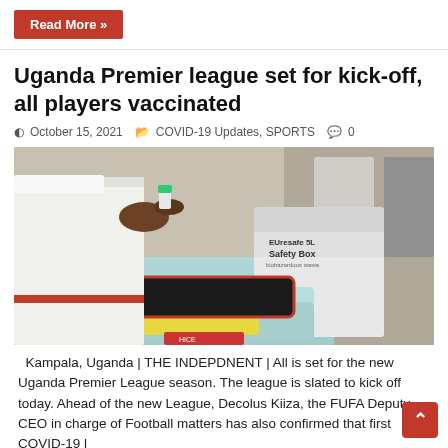Read More »
Uganda Premier league set for kick-off, all players vaccinated
October 15, 2021   COVID-19 Updates, SPORTS   0
[Figure (photo): A healthcare worker in white uniform holding a vaccine vial near a Safety Box and a cooler, at a vaccination site.]
Kampala, Uganda | THE INDEPDNENT | All is set for the new Uganda Premier League season. The league is slated to kick off today. Ahead of the new League, Decolus Kiiza, the FUFA Deputy CEO in charge of Football matters has also confirmed that first COVID-19 l...